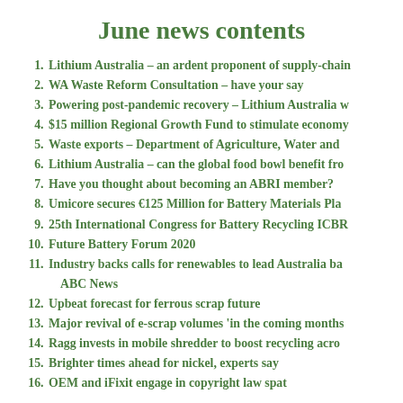June news contents
Lithium Australia – an ardent proponent of supply-chain...
WA Waste Reform Consultation – have your say
Powering post-pandemic recovery – Lithium Australia w...
$15 million Regional Growth Fund to stimulate economy...
Waste exports – Department of Agriculture, Water and...
Lithium Australia – can the global food bowl benefit fro...
Have you thought about becoming an ABRI member?
Umicore secures €125 Million for Battery Materials Pla...
25th International Congress for Battery Recycling ICBR...
Future Battery Forum 2020
Industry backs calls for renewables to lead Australia ba... ABC News
Upbeat forecast for ferrous scrap future
Major revival of e-scrap volumes 'in the coming months...
Ragg invests in mobile shredder to boost recycling acro...
Brighter times ahead for nickel, experts say
OEM and iFixit engage in copyright law spat...